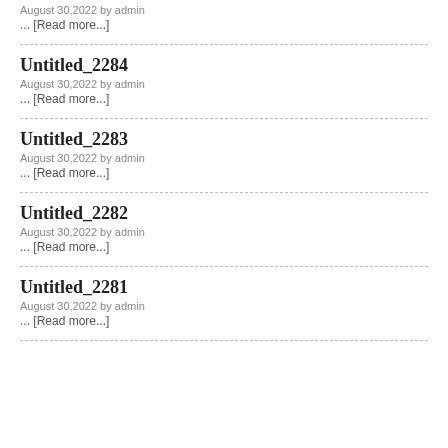August 30,2022 by admin
... [Read more...]
Untitled_2284
August 30,2022 by admin
... [Read more...]
Untitled_2283
August 30,2022 by admin
... [Read more...]
Untitled_2282
August 30,2022 by admin
... [Read more...]
Untitled_2281
August 30,2022 by admin
... [Read more...]